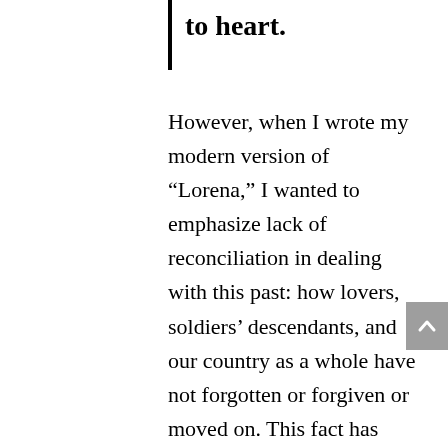to heart.
However, when I wrote my modern version of “Lorena,” I wanted to emphasize lack of reconciliation in dealing with this past: how lovers, soldiers’ descendants, and our country as a whole have not forgotten or forgiven or moved on. This fact has only become clearer to me since I’ve moved South to Nashville, and seen the pride and anger so many southerners still